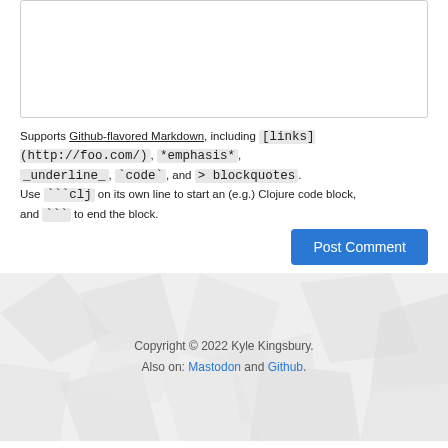Supports Github-flavored Markdown, including [links](http://foo.com/), *emphasis*, _underline_, `code`, and > blockquotes. Use ```clj on its own line to start an (e.g.) Clojure code block, and ``` to end the block.
Post Comment
Copyright © 2022 Kyle Kingsbury. Also on: Mastodon and Github.